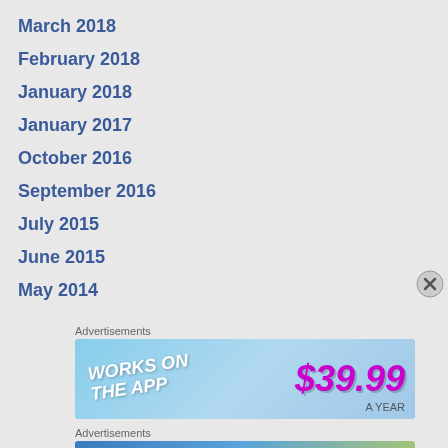March 2018
February 2018
January 2018
January 2017
October 2016
September 2016
July 2015
June 2015
May 2014
Advertisements
[Figure (illustration): Advertisement banner: WORKS ON THE APP, $39.99 price shown in purple text on blue gradient background]
Advertisements
[Figure (illustration): Advertisement banner: Create immersive stories. GET THE APP with WordPress logo on blue-green gradient background]